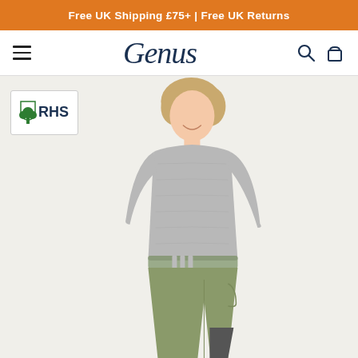Free UK Shipping £75+ | Free UK Returns
[Figure (logo): Genus brand logo in dark navy italic script font]
[Figure (photo): Woman wearing a grey long-sleeve top and olive/khaki cargo-style trousers, posed side-on smiling, with an RHS (Royal Horticultural Society) white badge overlay in the top-left corner of the product image]